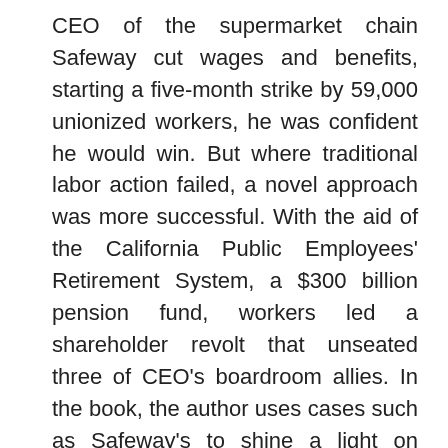CEO of the supermarket chain Safeway cut wages and benefits, starting a five-month strike by 59,000 unionized workers, he was confident he would win. But where traditional labor action failed, a novel approach was more successful. With the aid of the California Public Employees' Retirement System, a $300 billion pension fund, workers led a shareholder revolt that unseated three of CEO's boardroom allies. In the book, the author uses cases such as Safeway's to shine a light on labor's most potent remaining weapon: its multitrillion-dollar pension funds. Outmaneuvered at the bargaining table and under constant assault in Washington, state houses, and the courts, worker organizations are beginning to exercise muscle through markets. Shareholder activism has been used to divest from anti-labor companies, gun makers, and tobacco; diversify corporate boards; support Occupy Wall Street; force global warming onto the corporate agenda; create jobs; and challenge outlandish CEO pay. Webber argues that workers have found in labor's capital a potent strategy against their exploiters. He explains the